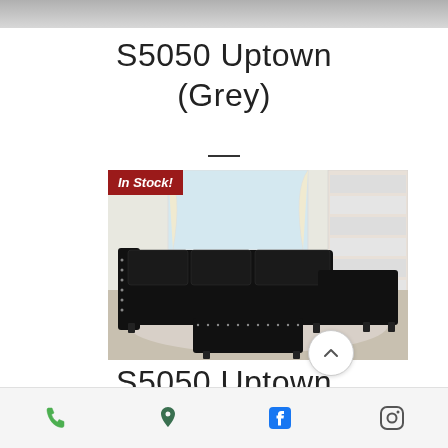[Figure (photo): Top strip of a product image — cropped, partially visible]
S5050 Uptown (Grey)
[Figure (photo): Black sectional sofa with ottoman and chaise in a living room setting. 'In Stock!' badge in top-left corner.]
S5050 Uptown (Black)
Phone | Location | Facebook | Instagram